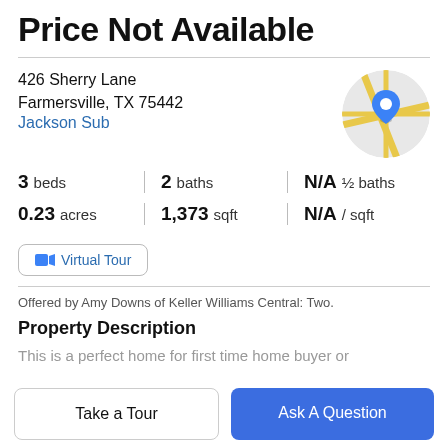Price Not Available
426 Sherry Lane
Farmersville, TX 75442
Jackson Sub
[Figure (map): Circular map thumbnail showing street map with a blue location pin marker]
3 beds | 2 baths | N/A ½ baths | 0.23 acres | 1,373 sqft | N/A / sqft
Virtual Tour
Offered by Amy Downs of Keller Williams Central: Two.
Property Description
This is a perfect home for first time home buyer or
Take a Tour
Ask A Question